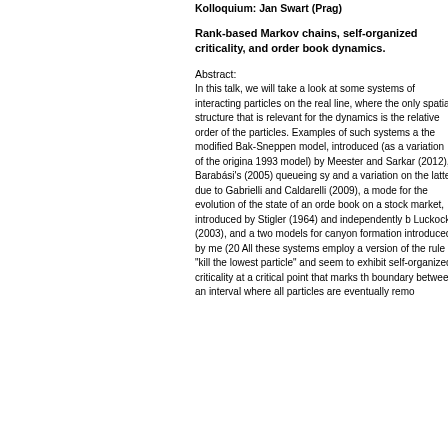Kolloquium: Jan Swart (Prag)
Rank-based Markov chains, self-organized criticality, and order book dynamics.
Abstract:
In this talk, we will take a look at some systems of interacting particles on the real line, where the only spatial structure that is relevant for the dynamics is the relative order of the particles. Examples of such systems are the modified Bak-Sneppen model, introduced (as a variation of the original 1993 model) by Meester and Sarkar (2012), Barabási's (2005) queueing systems, and a variation on the latter due to Gabrielli and Caldarelli (2009), a model for the evolution of the state of an order book on a stock market, introduced by Stigler (1964) and independently by Luckock (2003), and a two models for canyon formation introduced by me (20... All these systems employ a version of the rule "kill the lowest particle" and seem to exhibit self-organized criticality at a critical point that marks the boundary between an interval where all particles are eventually remo...